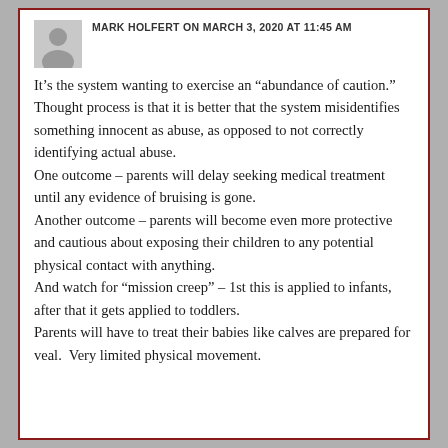MARK HOLFERT ON MARCH 3, 2020 AT 11:45 AM
It’s the system wanting to exercise an “abundance of caution.”
Thought process is that it is better that the system misidentifies something innocent as abuse, as opposed to not correctly identifying actual abuse.
One outcome – parents will delay seeking medical treatment until any evidence of bruising is gone.
Another outcome – parents will become even more protective and cautious about exposing their children to any potential physical contact with anything.
And watch for “mission creep” – 1st this is applied to infants, after that it gets applied to toddlers.
Parents will have to treat their babies like calves are prepared for veal.  Very limited physical movement.